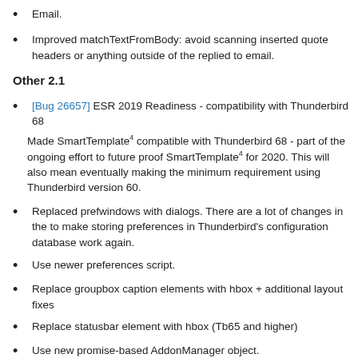Email.
Improved matchTextFromBody: avoid scanning inserted quote headers or anything outside of the replied to email.
Other 2.1
[Bug 26657] ESR 2019 Readiness - compatibility with Thunderbird 68
Made SmartTemplate4 compatible with Thunderbird 68 - part of the ongoing effort to future proof SmartTemplate4 for 2020. This will also mean eventually making the minimum requirement using Thunderbird version 60.
Replaced prefwindows with dialogs. There are a lot of changes in the to make storing preferences in Thunderbird's configuration database work again.
Use newer preferences script.
Replace groupbox caption elements with hbox + additional layout fixes
Replace statusbar element with hbox (Tb65 and higher)
Use new promise-based AddonManager object.
Remove document.createElement in xul documents (replace with createXULElement until Mozilla decides to deprecate that too)